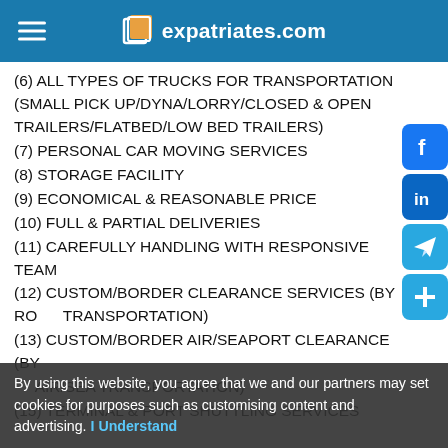expatriates.com
(6) ALL TYPES OF TRUCKS FOR TRANSPORTATION (SMALL PICK UP/DYNA/LORRY/CLOSED & OPEN TRAILERS/FLATBED/LOW BED TRAILERS)
(7) PERSONAL CAR MOVING SERVICES
(8) STORAGE FACILITY
(9) ECONOMICAL & REASONABLE PRICE
(10) FULL & PARTIAL DELIVERIES
(11) CAREFULLY HANDLING WITH RESPONSIVE TEAM
(12) CUSTOM/BORDER CLEARANCE SERVICES (BY ROAD TRANSPORTATION)
(13) CUSTOM/BORDER AIR/SEAPORT CLEARANCE (BY AIR/SEA TRANSPORTATION)
(15) TERMINAL & PORT SHUTTLING SERVICES
By using this website, you agree that we and our partners may set cookies for purposes such as customising content and advertising. I Understand